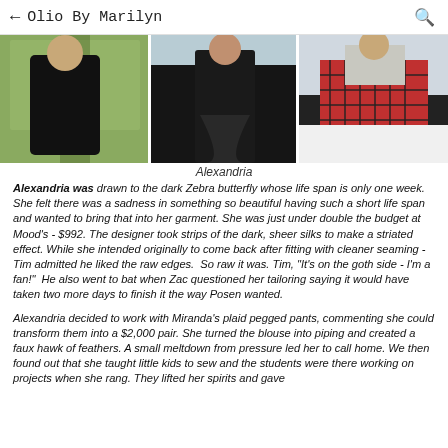← Olio By Marilyn 🔍
[Figure (photo): Three fashion photos side by side showing model Alexandria: left photo shows woman in black jumpsuit outdoors in garden, center photo shows woman in black sheer gown from behind, right photo shows model on runway in plaid pegged pants]
Alexandria
Alexandria was drawn to the dark Zebra butterfly whose life span is only one week. She felt there was a sadness in something so beautiful having such a short life span and wanted to bring that into her garment. She was just under double the budget at Mood's - $992. The designer took strips of the dark, sheer silks to make a striated effect. While she intended originally to come back after fitting with cleaner seaming - Tim admitted he liked the raw edges. So raw it was. Tim, "It's on the goth side - I'm a fan!" He also went to bat when Zac questioned her tailoring saying it would have taken two more days to finish it the way Posen wanted.
Alexandria decided to work with Miranda's plaid pegged pants, commenting she could transform them into a $2,000 pair. She turned the blouse into piping and created a faux hawk of feathers. A small meltdown from pressure led her to call home. We then found out that she taught little kids to sew and the students were there working on projects when she rang. They lifted her spirits and gave